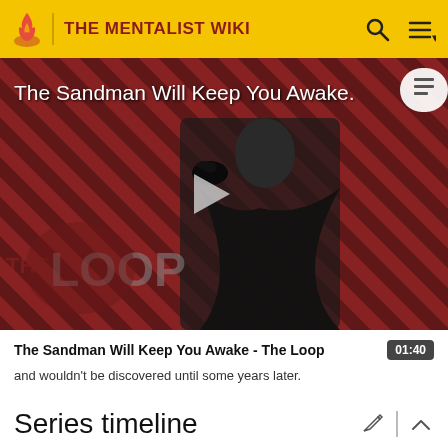THE MENTALIST WIKI
[Figure (screenshot): Video thumbnail showing a dark-cloaked figure against a red and black diagonal striped background with 'THE LOOP' text overlay and a play button in the center. Title reads 'The Sandman Will Keep You Awake.']
The Sandman Will Keep You Awake - The Loop
and wouldn't be discovered until some years later.
Series timeline